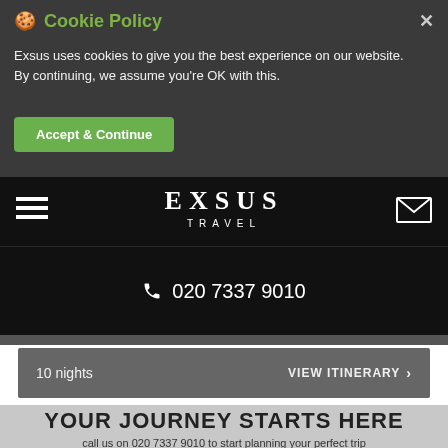Cookie Policy
Exsus uses cookies to give you the best experience on our website. By continuing, we assume you're OK with this.
Accept & Continue
[Figure (logo): EXSUS TRAVEL logo in white serif text on black background]
020 7337 9010
10 nights
VIEW ITINERARY >
YOUR JOURNEY STARTS HERE
call us on 020 7337 9010 to start planning your perfect trip